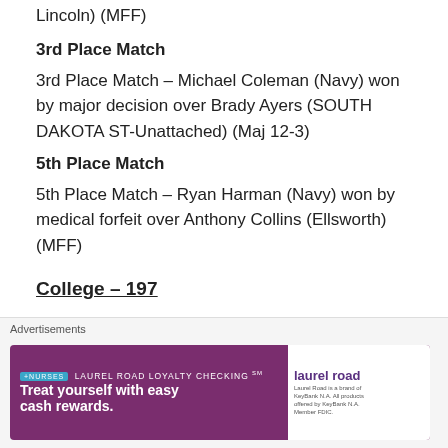Lincoln) (MFF)
3rd Place Match
3rd Place Match – Michael Coleman (Navy) won by major decision over Brady Ayers (SOUTH DAKOTA ST-Unattached) (Maj 12-3)
5th Place Match
5th Place Match – Ryan Harman (Navy) won by medical forfeit over Anthony Collins (Ellsworth) (MFF)
College – 197
1st Place – Riley Lefever of Wabash College
2nd Place – Eric Schultz of University of Nebraska Lincoln
[Figure (infographic): Advertisement banner for Laurel Road Loyalty Checking with tagline 'Treat yourself with easy cash rewards.' Purple background with nurse imagery.]